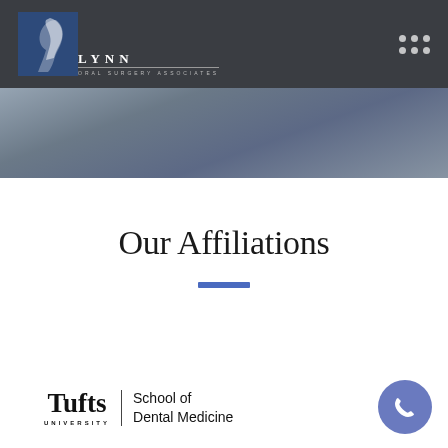LYNN ORAL SURGERY ASSOCIATES
Our Affiliations
[Figure (logo): Tufts University School of Dental Medicine logo with bold Tufts wordmark, vertical divider, and School of Dental Medicine text]
[Figure (other): Phone contact button - circular blue button with phone icon]